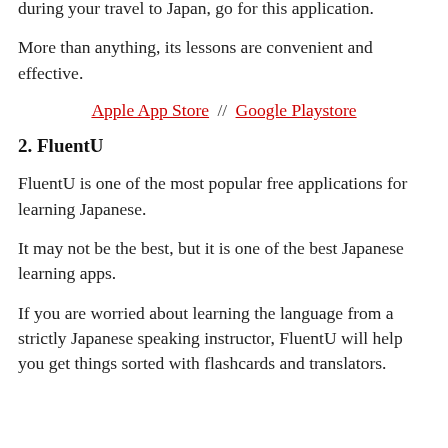during your travel to Japan, go for this application.
More than anything, its lessons are convenient and effective.
Apple App Store // Google Playstore
2. FluentU
FluentU is one of the most popular free applications for learning Japanese.
It may not be the best, but it is one of the best Japanese learning apps.
If you are worried about learning the language from a strictly Japanese speaking instructor, FluentU will help you get things sorted with flashcards and translators.